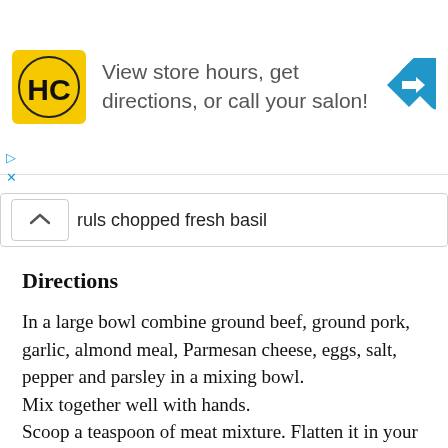[Figure (infographic): Advertisement banner for HC Salon showing logo, text 'View store hours, get directions, or call your salon!' and a blue diamond direction arrow icon]
ruls chopped fresh basil
Directions
In a large bowl combine ground beef, ground pork, garlic, almond meal, Parmesan cheese, eggs, salt, pepper and parsley in a mixing bowl.
Mix together well with hands.
Scoop a teaspoon of meat mixture. Flatten it in your palm to form a roughly 2-inch circle. Add one piece of the smoked gouda. Carefully fold the meat around the cheeses. Roll in your palms to form the meat ball. Repeat to make all meatballs (about 50 meatballs).
Heat a li...